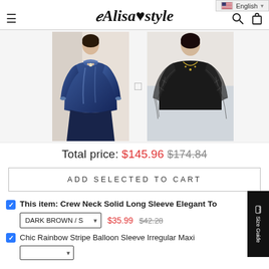Alisastyle — English
[Figure (photo): Two product photos: left is a navy blue satin ruffled neck long sleeve elegant top worn by a woman; right is a black lace long sleeve sheer top worn by a woman with a necklace.]
Total price: $145.96  $174.84
ADD SELECTED TO CART
This item: Crew Neck Solid Long Sleeve Elegant To
DARK BROWN / S  $35.99  $42.28
Chic Rainbow Stripe Balloon Sleeve Irregular Maxi